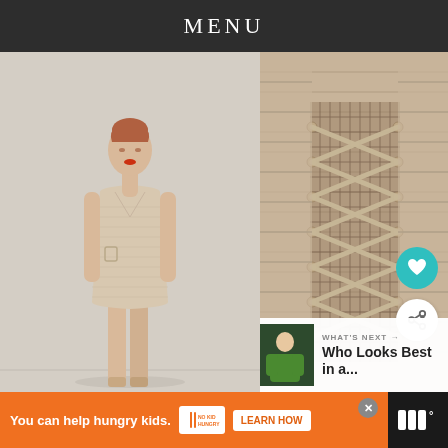MENU
[Figure (photo): Fashion runway photo showing a slim model wearing a nude/beige bandage-style mini dress with lace-up corset detail, walking on a runway with a light background]
[Figure (photo): Close-up detail photo of the corset lace-up detail on the beige/nude bandage dress, showing criss-cross lacing and mesh panel]
[Figure (photo): Thumbnail image of a woman in green dress for 'Who Looks Best in a...' what's next panel]
WHAT'S NEXT → Who Looks Best in a...
You can help hungry kids.  NO KID HUNGRY  LEARN HOW